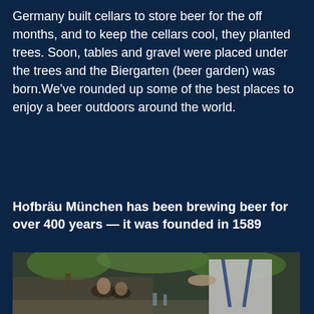Germany built cellars to store beer for the off months, and to keep the cellars cool, they planted trees. Soon, tables and gravel were placed under the trees and the Biergarten (beer garden) was born.We've rounded up some of the best places to enjoy a beer outdoors around the world.
Hofbräu München has been brewing beer for over 400 years — it was founded in 1589
[Figure (photo): Photo of people sitting at outdoor beer garden tables with a waiter in white shirt and blue suspenders serving food, green trees visible in background]